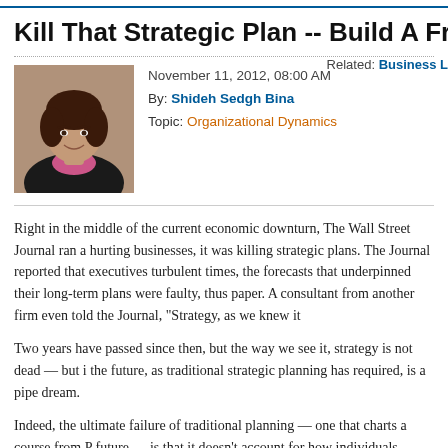Kill That Strategic Plan -- Build A Frame...
November 11, 2012, 08:00 AM
By: Shideh Sedgh Bina
Topic: Organizational Dynamics
Related: Business...
[Figure (photo): Headshot photo of Shideh Sedgh Bina, a woman with short dark hair wearing a black jacket and pink scarf]
Right in the middle of the current economic downturn, The Wall Street Journal ran a hurting businesses, it was killing strategic plans. The Journal reported that executives turbulent times, the forecasts that underpinned their long-term plans were faulty, thus paper. A consultant from another firm even told the Journal, "Strategy, as we knew it
Two years have passed since then, but the way we see it, strategy is not dead — but i the future, as traditional strategic planning has required, is a pipe dream.
Indeed, the ultimate failure of traditional planning — one that charts a course from P future — is that it doesn't account for how individuals, firms, governments, and insti other and to the changing environment.
Our advice: Don't create a strategic plan. Rather, build a strategic frame; a ship of bu adapt to constantly shifting seas, can overcome threats, and chart a quicker, more inn